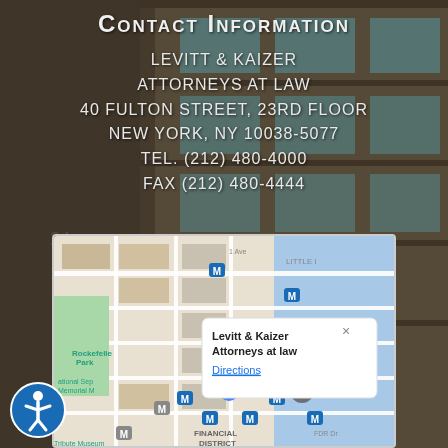Contact Information
LEVITT & KAIZER
ATTORNEYS AT LAW
40 FULTON STREET, 23RD FLOOR
NEW YORK, NY 10038-5077
TEL. (212) 480-4000
FAX (212) 480-4444
AFTER HOURS:
RICHARD LEVITT: (917) 562-4000
NICHOLAS KAIZER: (917) 324-4000
ZACHARY SEGAL: (917) 836-3011
[Figure (map): Google Maps screenshot showing the location of Levitt & Kaizer Attorneys at Law in the Financial District area of New York City, with surrounding landmarks including Rockefeller Park, National September 11 Memorial, Brooklyn Bridge, and Chinatown visible. A popup shows 'Levitt & Kaizer Attorneys at law' with a Directions link.]